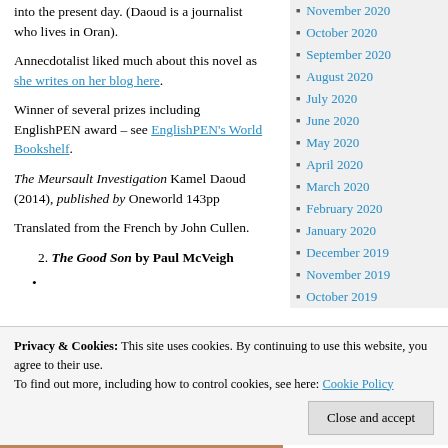into the present day. (Daoud is a journalist who lives in Oran).
Annecdotalist liked much about this novel as she writes on her blog here.
Winner of several prizes including EnglishPEN award – see EnglishPEN's World Bookshelf.
The Meursault Investigation Kamel Daoud (2014), published by Oneworld 143pp
Translated from the French by John Cullen.
2. The Good Son by Paul McVeigh
•
November 2020
October 2020
September 2020
August 2020
July 2020
June 2020
May 2020
April 2020
March 2020
February 2020
January 2020
December 2019
November 2019
October 2019
Privacy & Cookies: This site uses cookies. By continuing to use this website, you agree to their use. To find out more, including how to control cookies, see here: Cookie Policy
Close and accept